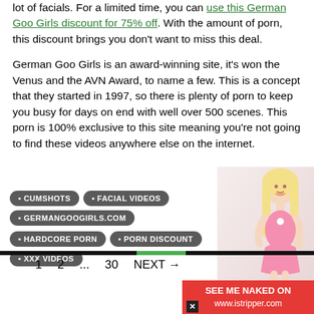lot of facials. For a limited time, you can use this German Goo Girls discount for 75% off. With the amount of porn, this discount brings you don't want to miss this deal.
German Goo Girls is an award-winning site, it's won the Venus and the AVN Award, to name a few. This is a concept that they started in 1997, so there is plenty of porn to keep you busy for days on end with well over 500 scenes. This porn is 100% exclusive to this site meaning you're not going to find these videos anywhere else on the internet.
CUMSHOTS
FACIAL VIDEOS
GERMANGOOGIRLS.COM
HARDCORE PORN
PORN DISCOUNT
XXX VIDEOS
[Figure (photo): Blonde woman in pink bikini/lingerie posing]
1  2  ...  30  NEXT →
SEE ME NAKED ON www.istripper.com